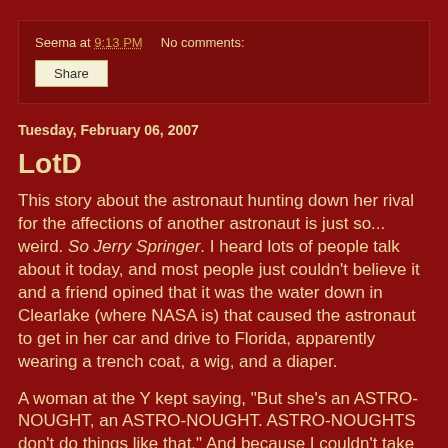Seema at 9:13 PM    No comments:
Share
Tuesday, February 06, 2007
LotD
This story about the astronaut hunting down her rival for the affections of another astronaut is just so... weird. So Jerry Springer. I heard lots of people talk about it today, and most people just couldn't believe it and a friend opined that it was the water down in Clearlake (where NASA is) that caused the astronaut to get in her car and drive to Florida, apparently wearing a trench coat, a wig, and a diaper.
A woman at the Y kept saying, "But she's an ASTRO-NOUGHT, an ASTRO-NOUGHT. ASTRO-NOUGHTS don't do things like that." And because I couldn't take the high pitched capitalized pronounciation of ASTRO-NOUGHT for a